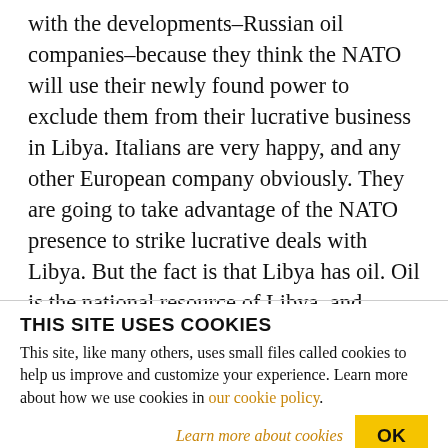with the developments–Russian oil companies–because they think the NATO will use their newly found power to exclude them from their lucrative business in Libya. Italians are very happy, and any other European company obviously. They are going to take advantage of the NATO presence to strike lucrative deals with Libya. But the fact is that Libya has oil. Oil is the national resource of Libya, and Libya needs to sell its oil. There is nothing wrong with that. What is wrong is NATO European countries use the shield of NATO in order to–under
THIS SITE USES COOKIES
This site, like many others, uses small files called cookies to help us improve and customize your experience. Learn more about how we use cookies in our cookie policy.
Learn more about cookies
OK